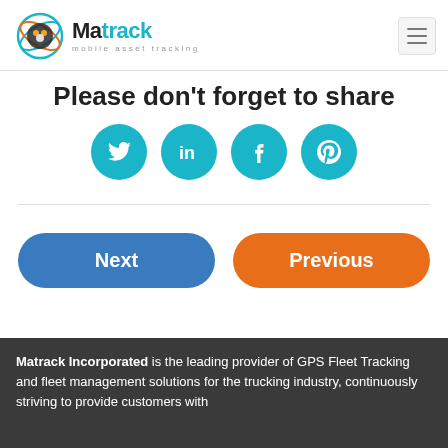Matrack mobile asset tracking
Please don't forget to share
[Figure (illustration): Four teal circular social media icons: Twitter, LinkedIn, Facebook, Pinterest]
Next
Previous
Matrack Incorporated is the leading provider of GPS Fleet Tracking and fleet management solutions for the trucking industry, continuously striving to provide customers with